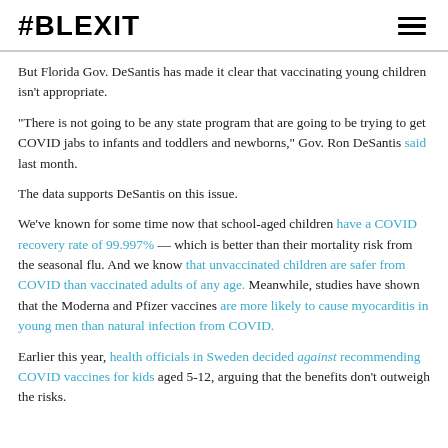#BLEXIT
But Florida Gov. DeSantis has made it clear that vaccinating young children isn't appropriate.
“There is not going to be any state program that are going to be trying to get COVID jabs to infants and toddlers and newborns,” Gov. Ron DeSantis said last month.
The data supports DeSantis on this issue.
We’ve known for some time now that school-aged children have a COVID recovery rate of 99.997% — which is better than their mortality risk from the seasonal flu. And we know that unvaccinated children are safer from COVID than vaccinated adults of any age. Meanwhile, studies have shown that the Moderna and Pfizer vaccines are more likely to cause myocarditis in young men than natural infection from COVID.
Earlier this year, health officials in Sweden decided against recommending COVID vaccines for kids aged 5-12, arguing that the benefits don’t outweigh the risks.